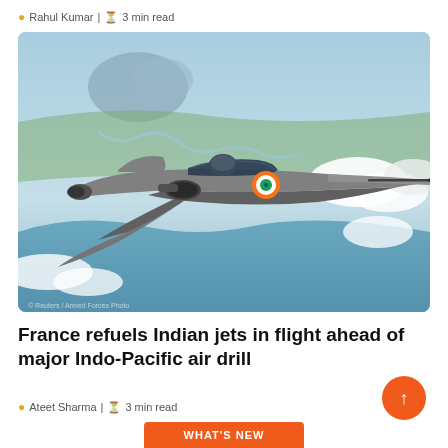Rahul Kumar | 3 min read
[Figure (photo): Indian Air Force fighter jet performing aerial refueling with a tanker probe, flying over a coastal landscape with mountains, rivers, and clouds visible below. The jet bears the Indian Air Force roundel.]
France refuels Indian jets in flight ahead of major Indo-Pacific air drill
Ateet Sharma | 3 min read
WHAT'S NEW